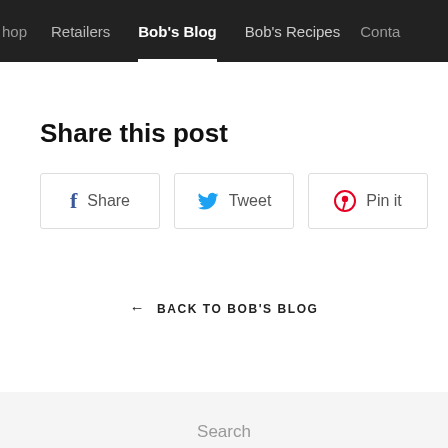hop   Retailers   Bob's Blog   Bob's Recipes   Conta
Share this post
Share   Tweet   Pin it
← BACK TO BOB'S BLOG
Search